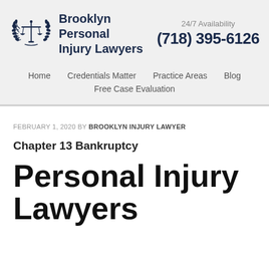[Figure (logo): Brooklyn Personal Injury Lawyers logo with scales of justice and laurel wreath]
Brooklyn Personal Injury Lawyers
24/7 Availability
(718) 395-6126
Home  Credentials Matter  Practice Areas  Blog  Free Case Evaluation
FEBRUARY 1, 2020 BY BROOKLYN INJURY LAWYER
Chapter 13 Bankruptcy
Personal Injury Lawyers